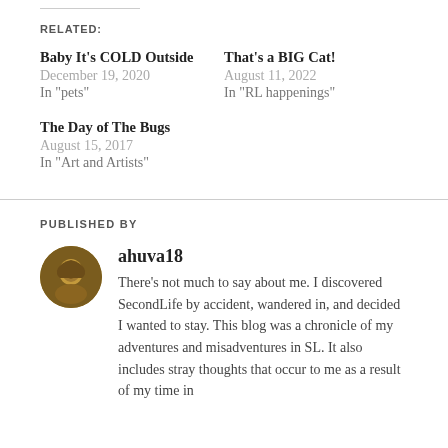RELATED:
Baby It's COLD Outside
December 19, 2020
In "pets"
That's a BIG Cat!
August 11, 2022
In "RL happenings"
The Day of The Bugs
August 15, 2017
In "Art and Artists"
PUBLISHED BY
ahuva18
There's not much to say about me. I discovered SecondLife by accident, wandered in, and decided I wanted to stay. This blog was a chronicle of my adventures and misadventures in SL. It also includes stray thoughts that occur to me as a result of my time in